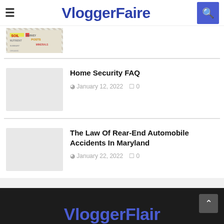VloggerFaire
[Figure (screenshot): Partial thumbnail of a soil-related article]
Home Security FAQ
January 12, 2022  0
[Figure (photo): Blank/light gray thumbnail for Home Security FAQ article]
The Law Of Rear-End Automobile Accidents In Maryland
January 22, 2022  0
[Figure (photo): Blank/light gray thumbnail for automobile accidents article]
VloggerFlair